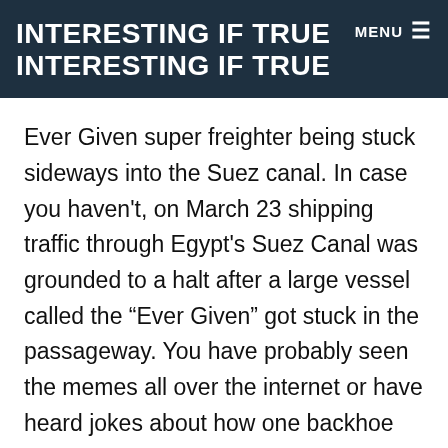INTERESTING IF TRUE
INTERESTING IF TRUE
Ever Given super freighter being stuck sideways into the Suez canal. In case you haven’t, on March 23 shipping traffic through Egypt’s Suez Canal was grounded to a halt after a large vessel called the “Ever Given” got stuck in the passageway. You have probably seen the memes all over the internet or have heard jokes about how one backhoe worked tirelessly alone to help extricate the ship from the shore. Luckily the ship was